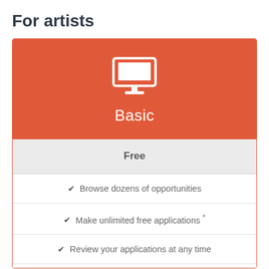For artists
[Figure (infographic): Pricing card for 'Basic' plan with red header showing a monitor/computer icon and the word 'Basic', followed by a light grey 'Free' price row, and three feature rows with checkmarks.]
Free
✔ Browse dozens of opportunities
✔ Make unlimited free applications *
✔ Review your applications at any time